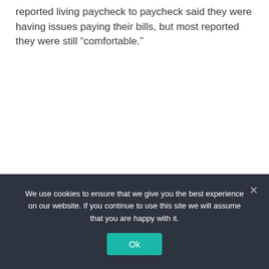reported living paycheck to paycheck said they were having issues paying their bills, but most reported they were still “comfortable.”
We use cookies to ensure that we give you the best experience on our website. If you continue to use this site we will assume that you are happy with it.
Ok